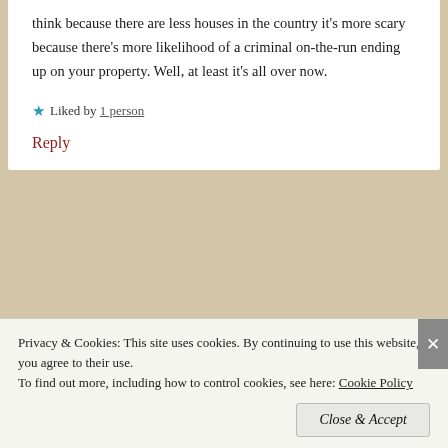think because there are less houses in the country it’s more scary because there’s more likelihood of a criminal on-the-run ending up on your property. Well, at least it’s all over now.
★ Liked by 1 person
Reply
tonytomeo   6 September, 2019 at 12:10
Privacy & Cookies: This site uses cookies. By continuing to use this website, you agree to their use.
To find out more, including how to control cookies, see here: Cookie Policy
Close & Accept